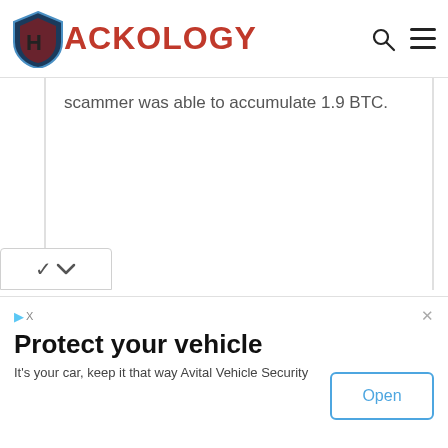HACKOLOGY
scammer was able to accumulate 1.9 BTC.
[Figure (other): Advertisement banner for Avital Vehicle Security with 'Open' button. Title: Protect your vehicle. Body: It's your car, keep it that way Avital Vehicle Security.]